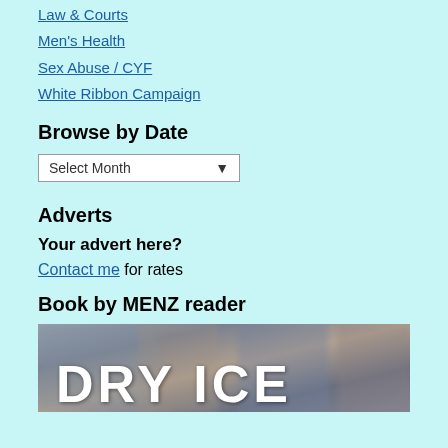Law & Courts
Men's Health
Sex Abuse / CYF
White Ribbon Campaign
Browse by Date
Select Month
Adverts
Your advert here?
Contact me for rates
Book by MENZ reader
[Figure (photo): Book cover image showing 'DRY ICE' text in white bold letters on a blurred background]